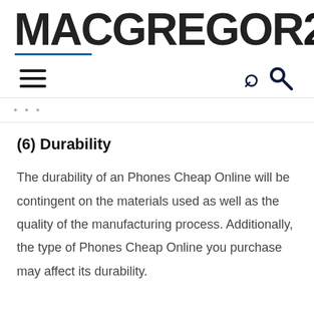MACGREGOR26
(6) Durability
The durability of an Phones Cheap Online will be contingent on the materials used as well as the quality of the manufacturing process. Additionally, the type of Phones Cheap Online you purchase may affect its durability.